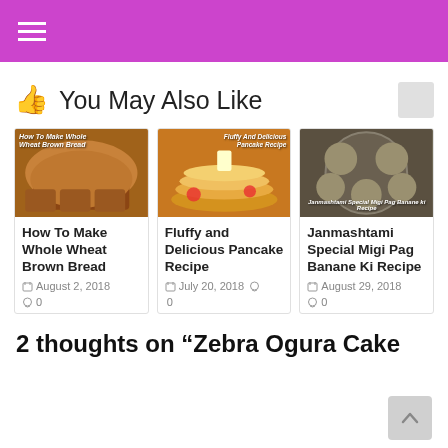≡ (hamburger menu)
👍 You May Also Like
[Figure (photo): Photo of whole wheat brown bread loaf sliced on a wooden board with overlay text 'How To Make Whole Wheat Brown Bread']
How To Make Whole Wheat Brown Bread
August 2, 2018
0
[Figure (photo): Photo of fluffy pancakes stacked on a plate with butter, fruit and overlay text 'Fluffy And Delicious Pancake Recipe']
Fluffy and Delicious Pancake Recipe
July 20, 2018
0
[Figure (photo): Photo of Janmashtami Special Migi Pag snacks on a plate with overlay text]
Janmashtami Special Migi Pag Banane Ki Recipe
August 29, 2018
0
2 thoughts on “Zebra Ogura Cake